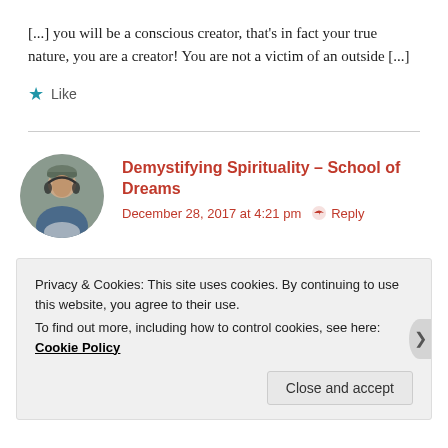[...] you will be a conscious creator, that's in fact your true nature, you are a creator! You are not a victim of an outside [...]
★ Like
Demystifying Spirituality – School of Dreams
December 28, 2017 at 4:21 pm  ✉ Reply
Privacy & Cookies: This site uses cookies. By continuing to use this website, you agree to their use.
To find out more, including how to control cookies, see here: Cookie Policy
Close and accept